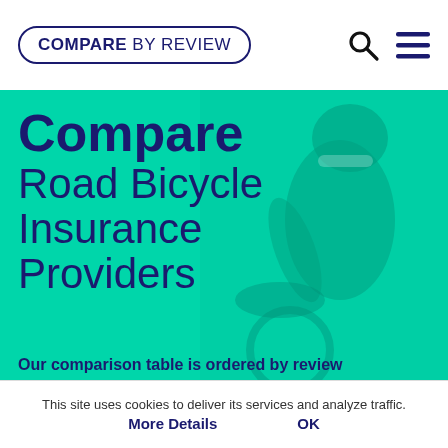COMPARE BY REVIEW
Compare Road Bicycle Insurance Providers
Our comparison table is ordered by review
This site uses cookies to deliver its services and analyze traffic. More Details OK